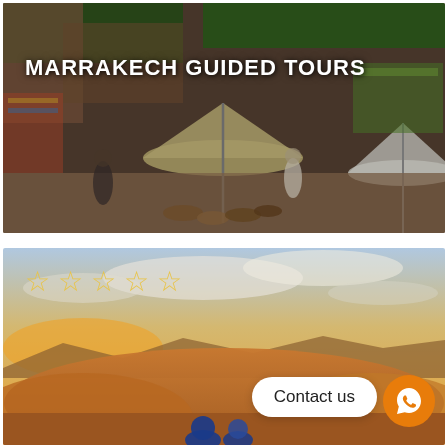[Figure (photo): Aerial/overhead view of a busy Marrakech market (souk) with vendors, colorful goods, umbrellas, baskets, and shoppers. Text overlay reading 'MARRAKECH GUIDED TOURS'.]
MARRAKECH GUIDED TOURS
[Figure (photo): Desert landscape at sunset with orange sand dunes, cloudy sky, and two figures with blue headwear in the foreground. Overlaid with 5 empty star rating icons, a 'Contact us' button, and a WhatsApp icon button.]